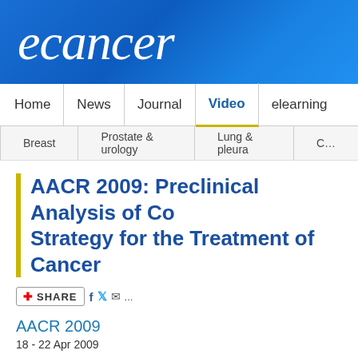[Figure (logo): ecancer logo — white italic text on blue gradient background]
Home | News | Journal | Video | elearning
Breast | Prostate & urology | Lung & pleura | C...
AACR 2009: Preclinical Analysis of Co Strategy for the Treatment of Cancer
[Figure (infographic): Share button with Facebook, Twitter, email and more icons]
AACR 2009
18 - 22 Apr 2009